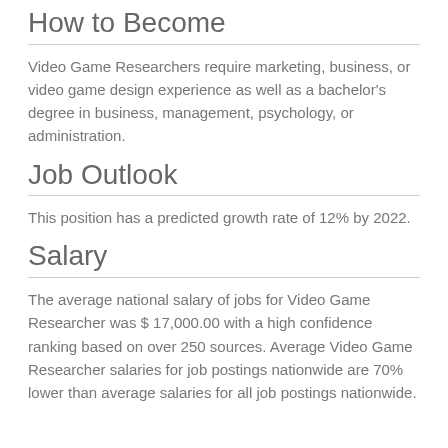How to Become
Video Game Researchers require marketing, business, or video game design experience as well as a bachelor's degree in business, management, psychology, or administration.
Job Outlook
This position has a predicted growth rate of 12% by 2022.
Salary
The average national salary of jobs for Video Game Researcher was $ 17,000.00 with a high confidence ranking based on over 250 sources. Average Video Game Researcher salaries for job postings nationwide are 70% lower than average salaries for all job postings nationwide.